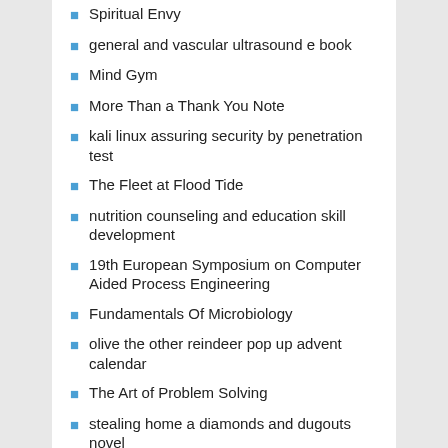Spiritual Envy
general and vascular ultrasound e book
Mind Gym
More Than a Thank You Note
kali linux assuring security by penetration test
The Fleet at Flood Tide
nutrition counseling and education skill development
19th European Symposium on Computer Aided Process Engineering
Fundamentals Of Microbiology
olive the other reindeer pop up advent calendar
The Art of Problem Solving
stealing home a diamonds and dugouts novel